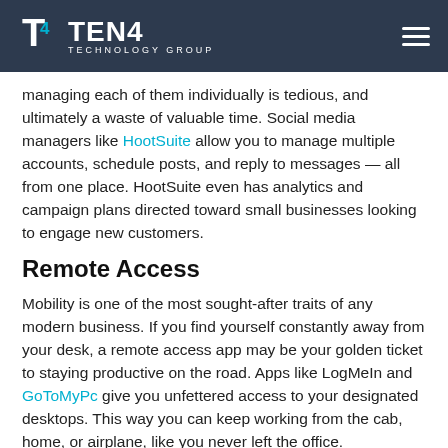TEN4 TECHNOLOGY GROUP
managing each of them individually is tedious, and ultimately a waste of valuable time. Social media managers like HootSuite allow you to manage multiple accounts, schedule posts, and reply to messages — all from one place. HootSuite even has analytics and campaign plans directed toward small businesses looking to engage new customers.
Remote Access
Mobility is one of the most sought-after traits of any modern business. If you find yourself constantly away from your desk, a remote access app may be your golden ticket to staying productive on the road. Apps like LogMeIn and GoToMyPc give you unfettered access to your designated desktops. This way you can keep working from the cab, home, or airplane, like you never left the office.